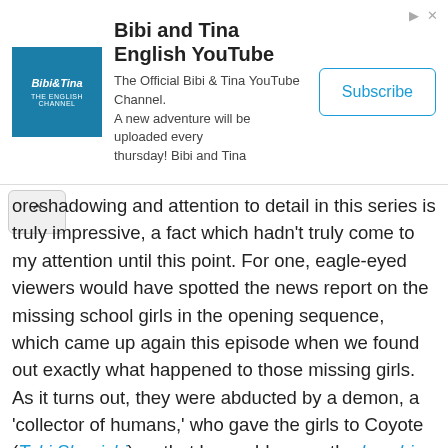[Figure (infographic): Advertisement banner for Bibi and Tina English YouTube channel with logo, description text, and Subscribe button]
oreshadowing and attention to detail in this series is truly impressive, a fact which hadn't truly come to my attention until this point. For one, eagle-eyed viewers would have spotted the news report on the missing school girls in the opening sequence, which came up again this episode when we found out exactly what happened to those missing girls. As it turns out, they were abducted by a demon, a 'collector of humans,' who gave the girls to Coyote (Toki Shunichi) so that he could power the kyoshi ritual with Yin energy.
Others may have noticed Sakaki's book on missing girls cases, which I attributed to him looking for the girls who were made into the altar, but actually he's looking for another girl, entirely – his sister. This develops his character in the sense that he now has a personal stake in these Another cases. That said, Arata had to be